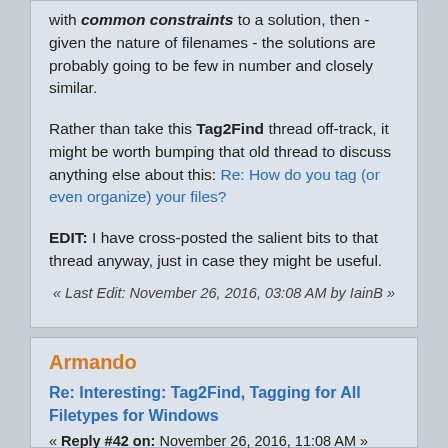with common constraints to a solution, then - given the nature of filenames - the solutions are probably going to be few in number and closely similar.
Rather than take this Tag2Find thread off-track, it might be worth bumping that old thread to discuss anything else about this: Re: How do you tag (or even organize) your files?
EDIT: I have cross-posted the salient bits to that thread anyway, just in case they might be useful.
« Last Edit: November 26, 2016, 03:08 AM by IainB »
Armando
Re: Interesting: Tag2Find, Tagging for All Filetypes for Windows
« Reply #42 on: November 26, 2016, 11:08 AM »